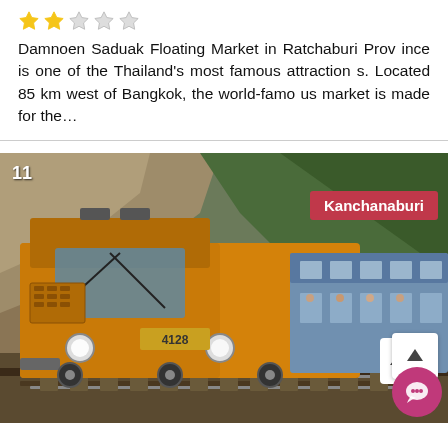Damnoen Saduak Floating Market in Ratchaburi Province is one of the Thailand's most famous attractions. Located 85 km west of Bangkok, the world-famous market is made for the...
[Figure (photo): Photo of a yellow/orange locomotive train passing through a rocky mountain pass, with blue passenger carriages behind it. Number badge '11' in top left, 'Kanchanaburi' label in top right. Scroll-up button and pink chat button in bottom right.]